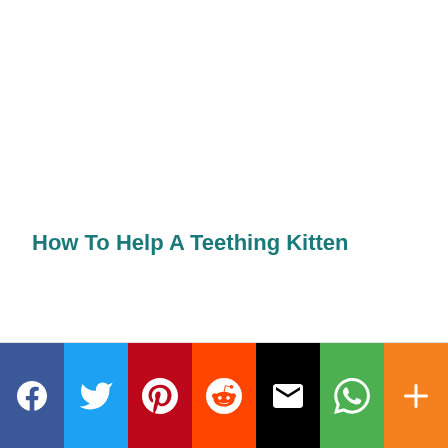How To Help A Teething Kitten
[Figure (other): Social share bar with Facebook, Twitter, Pinterest, Reddit, Email, WhatsApp, and More buttons]